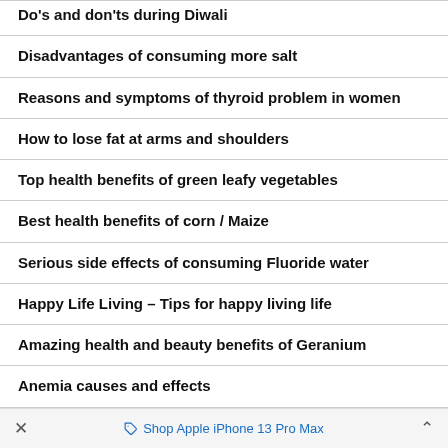Do's and don'ts during Diwali
Disadvantages of consuming more salt
Reasons and symptoms of thyroid problem in women
How to lose fat at arms and shoulders
Top health benefits of green leafy vegetables
Best health benefits of corn / Maize
Serious side effects of consuming Fluoride water
Happy Life Living – Tips for happy living life
Amazing health and beauty benefits of Geranium
Anemia causes and effects
× Shop Apple iPhone 13 Pro Max ∧